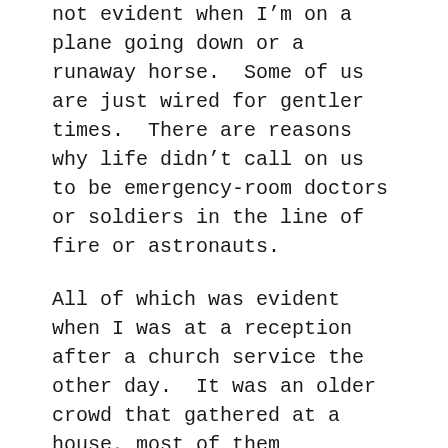not evident when I'm on a plane going down or a runaway horse.  Some of us are just wired for gentler times.  There are reasons why life didn't call on us to be emergency-room doctors or soldiers in the line of fire or astronauts.
All of which was evident when I was at a reception after a church service the other day.  It was an older crowd that gathered at a house, most of them unfamiliar with the fact you had to step down as you came into the living room.  I watched a couple of people stagger a little when they didn't notice the step, so took to warning people before they ventured in.
But I got engrossed talking to my friends Sam and Gloria, whom I hadn't seen in years.  We were sitting